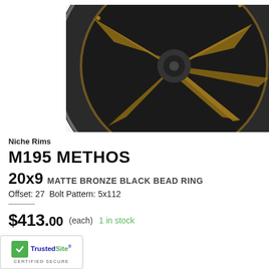[Figure (photo): Close-up product photo of a Niche Rims M195 Methos wheel — black outer rim with matte bronze multi-spoke interior, showing the angled spokes and bead ring detail against a white background.]
Niche Rims
M195 METHOS
20x9 MATTE BRONZE BLACK BEAD RING
Offset: 27 Bolt Pattern: 5x112
$413.00 (each) 1 in stock
[Figure (logo): TrustedSite Certified Secure badge with green checkmark and blue text]